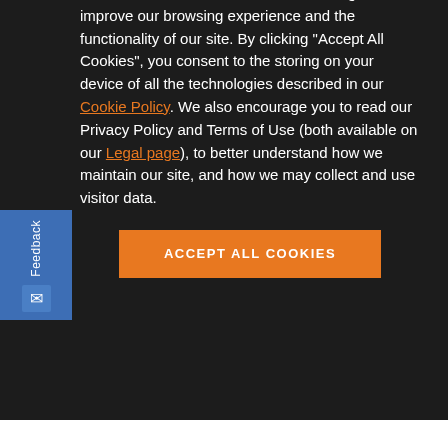[Figure (logo): Modular Mining logo with mountain icon and text 'MODULAR MINING']
complete an additional full assessment
With this module, the dispatcher or supervisor has an effective and timely
We use cookies and other similar technologies to improve our browsing experience and the functionality of our site. By clicking "Accept All Cookies", you consent to the storing on your device of all the technologies described in our Cookie Policy. We also encourage you to read our Privacy Policy and Terms of Use (both available on our Legal page), to better understand how we maintain our site, and how we may collect and use visitor data.
ACCEPT ALL COOKIES